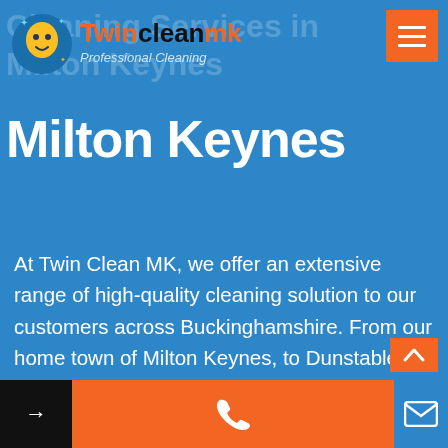[Figure (logo): TwinCleanMK logo with animated character and text 'Twincleanmk Professional Cleaning']
Cleaning Services in Milton Keynes
At Twin Clean MK, we offer an extensive range of high-quality cleaning solution to our customers across Buckinghamshire. From our home town of Milton Keynes, to Dunstable and beyond, our customers are assured impeccable service. No matter what size the job, our professional cleaners will see that it is completed.